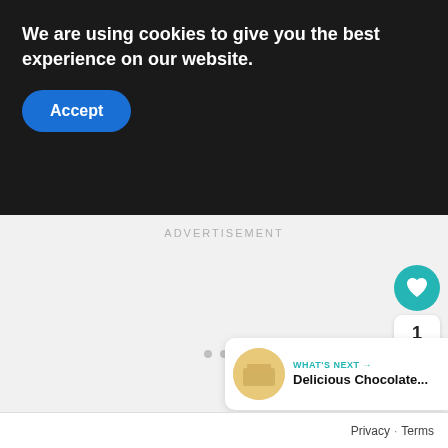We are using cookies to give you the best experience on our website.
Accept
ADVERTISEMENT
[Figure (other): Like/favorite button (teal circle with heart icon)]
1
[Figure (other): Share button (white circle with share icon)]
WHAT'S NEXT → Delicious Chocolate...
Privacy · Terms